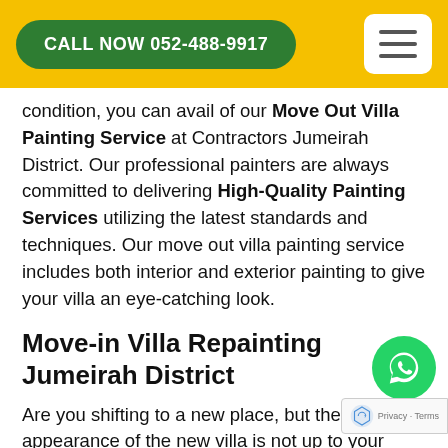CALL NOW 052-488-9917
condition, you can avail of our Move Out Villa Painting Service at Contractors Jumeirah District. Our professional painters are always committed to delivering High-Quality Painting Services utilizing the latest standards and techniques. Our move out villa painting service includes both interior and exterior painting to give your villa an eye-catching look.
Move-in Villa Repainting Jumeirah District
Are you shifting to a new place, but the appearance of the new villa is not up to your standard and choice, don't worry and call at 052-488-9917 for our move-in villa painting service. We will paint the villa